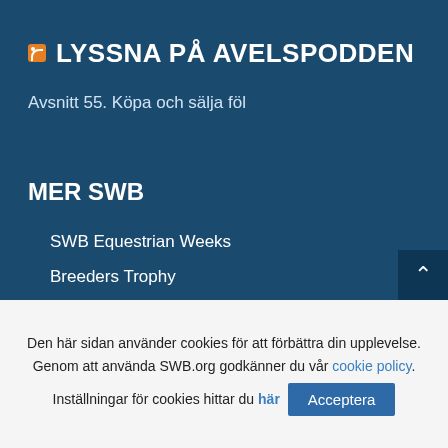LYSSNA PÅ AVELSPODDEN
Avsnitt 55. Köpa och sälja föl
MER SWB
SWB Equestrian Weeks
Breeders Trophy
SWB Trophy
SWB Prospects
SWB Stallion Trophy
SWB Riders Cup
Ung SWB – för dig under 26 år
Blup.se – sök SWB-häst
Den här sidan använder cookies för att förbättra din upplevelse. Genom att använda SWB.org godkänner du vår cookie policy. Inställningar för cookies hittar du här